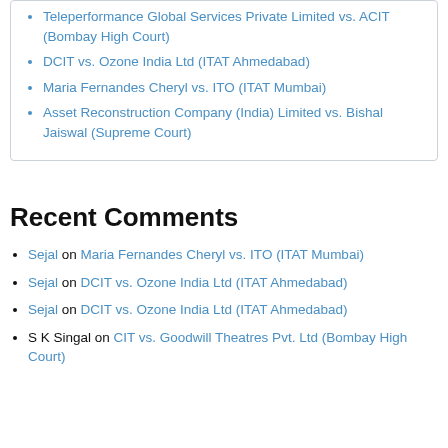Teleperformance Global Services Private Limited vs. ACIT (Bombay High Court)
DCIT vs. Ozone India Ltd (ITAT Ahmedabad)
Maria Fernandes Cheryl vs. ITO (ITAT Mumbai)
Asset Reconstruction Company (India) Limited vs. Bishal Jaiswal (Supreme Court)
Recent Comments
Sejal on Maria Fernandes Cheryl vs. ITO (ITAT Mumbai)
Sejal on DCIT vs. Ozone India Ltd (ITAT Ahmedabad)
Sejal on DCIT vs. Ozone India Ltd (ITAT Ahmedabad)
S K Singal on CIT vs. Goodwill Theatres Pvt. Ltd (Bombay High Court)